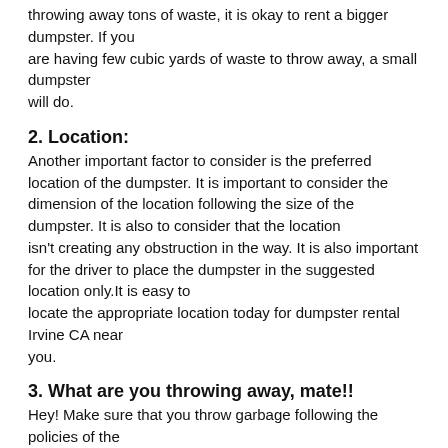throwing away tons of waste, it is okay to rent a bigger dumpster. If you are having few cubic yards of waste to throw away, a small dumpster will do.
2. Location:
Another important factor to consider is the preferred location of the dumpster. It is important to consider the dimension of the location following the size of the dumpster. It is also to consider that the location isn't creating any obstruction in the way. It is also important for the driver to place the dumpster in the suggested location only.It is easy to locate the appropriate location today for dumpster rental Irvine CA near you.
3. What are you throwing away, mate!!
Hey! Make sure that you throw garbage following the policies of the company. It is not allowed to throw the batteries, flammable items, paint, and tires in the dumpster.
4. Trustworthy Dumpster service: